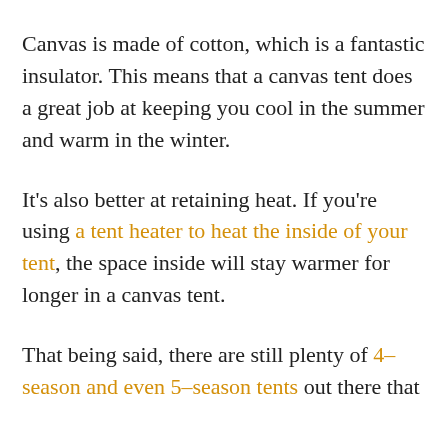Canvas is made of cotton, which is a fantastic insulator. This means that a canvas tent does a great job at keeping you cool in the summer and warm in the winter.
It's also better at retaining heat. If you're using a tent heater to heat the inside of your tent, the space inside will stay warmer for longer in a canvas tent.
That being said, there are still plenty of 4-season and even 5-season tents out there that